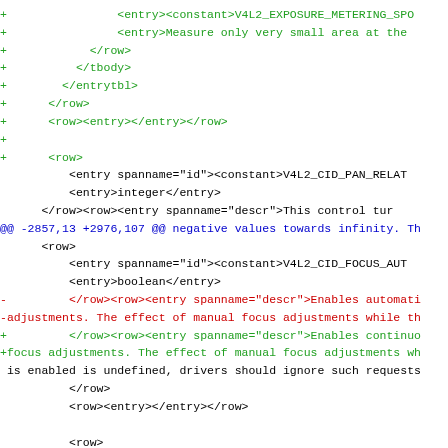Diff/patch code snippet showing XML changes related to V4L2 camera control entries including V4L2_EXPOSURE_METERING_SPO, V4L2_CID_PAN_RELAT, and V4L2_CID_FOCUS_AUT with modifications to focus adjustment descriptions.